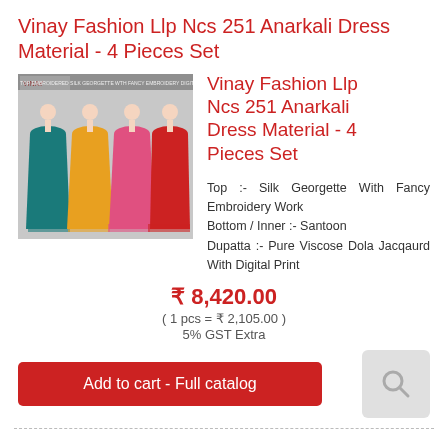Vinay Fashion Llp Ncs 251 Anarkali Dress Material - 4 Pieces Set
[Figure (photo): Four Anarkali dress materials displayed on mannequins in teal, yellow/orange, pink/coral, and red colors]
Vinay Fashion Llp Ncs 251 Anarkali Dress Material - 4 Pieces Set
Top :- Silk Georgette With Fancy Embroidery Work
Bottom / Inner :- Santoon
Dupatta :- Pure Viscose Dola Jacqaurd With Digital Print
₹ 8,420.00
( 1 pcs = ₹ 2,105.00 )
5% GST Extra
Add to cart - Full catalog